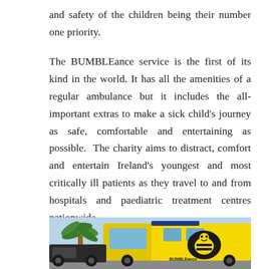and safety of the children being their number one priority.
The BUMBLEance service is the first of its kind in the world. It has all the amenities of a regular ambulance but it includes the all-important extras to make a sick child’s journey as safe, comfortable and entertaining as possible.  The charity aims to distract, comfort and entertain Ireland’s youngest and most critically ill patients as they travel to and from hospitals and paediatric treatment centres nationwide.
[Figure (photo): Photo of the BUMBLEance vehicle — a bright yellow ambulance van with the BUMBLEance logo (a cartoon bee character) on the side, parked near a palm tree with a blue sky in the background.]